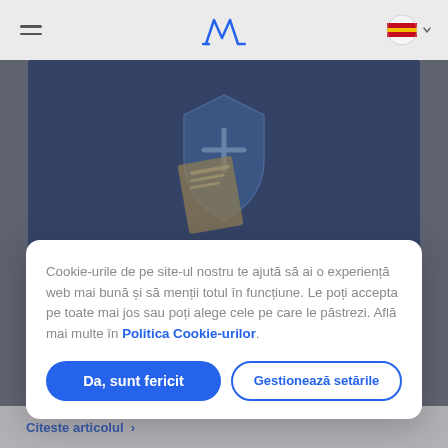[Figure (screenshot): Website navigation bar with hamburger menu on left, stylized M logo in center, Spanish flag icon with dropdown arrow on right]
[Figure (illustration): Dark blue hero image showing a health insurance shield with a plus sign and a document/clipboard on a dark blue background]
Cookie-urile de pe site-ul nostru te ajută să ai o experiență web mai bună și să menții totul în funcțiune. Le poți accepta pe toate mai jos sau poți alege cele pe care le păstrezi. Află mai multe în Politica Cookie-urilor.
Da, sunt fericit
Gestionează setările
Citeste articolul >